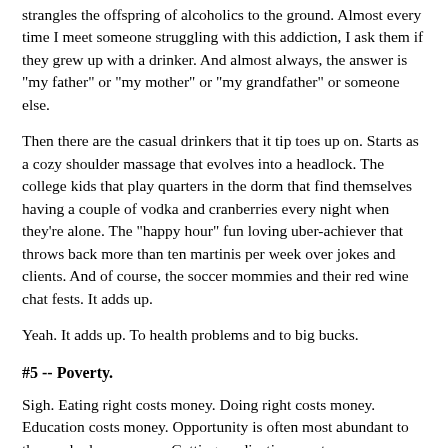strangles the offspring of alcoholics to the ground. Almost every time I meet someone struggling with this addiction, I ask them if they grew up with a drinker. And almost always, the answer is "my father" or "my mother" or "my grandfather" or someone else.
Then there are the casual drinkers that it tip toes up on. Starts as a cozy shoulder massage that evolves into a headlock. The college kids that play quarters in the dorm that find themselves having a couple of vodka and cranberries every night when they're alone. The "happy hour" fun loving uber-achiever that throws back more than ten martinis per week over jokes and clients. And of course, the soccer mommies and their red wine chat fests. It adds up.
Yeah. It adds up. To health problems and to big bucks.
#5 -- Poverty.
Sigh. Eating right costs money. Doing right costs money. Education costs money. Opportunity is often most abundant to those who have money. Getting medications costs money.